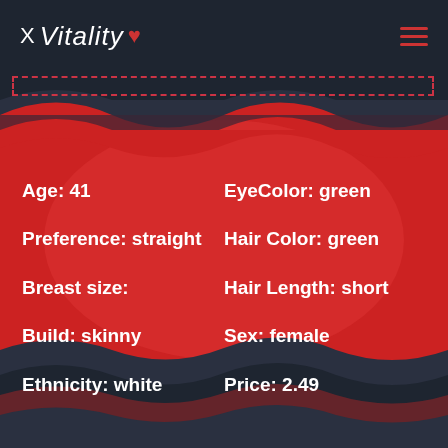X Vitality♥
Age: 41
EyeColor: green
Preference: straight
Hair Color: green
Breast size:
Hair Length: short
Build: skinny
Sex: female
Ethnicity: white
Price: 2.49